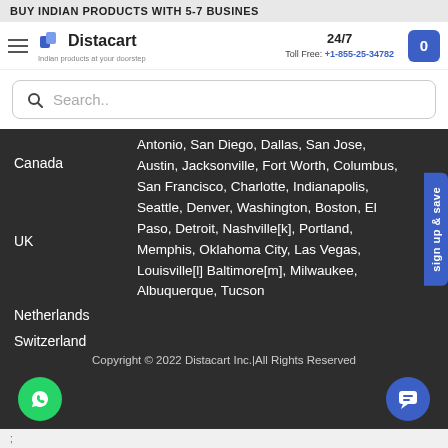BUY INDIAN PRODUCTS WITH 5-7 BUSINES
[Figure (logo): Distacart logo with icon and tagline 'Indian products at your doorstep']
24/7 Toll Free: +1-855-25-34782
Search..
Canada
UK
Netherlands
Switzerland
Antonio, San Diego, Dallas, San Jose, Austin, Jacksonville, Fort Worth, Columbus, San Francisco, Charlotte, Indianapolis, Seattle, Denver, Washington, Boston, El Paso, Detroit, Nashville[k], Portland, Memphis, Oklahoma City, Las Vegas, Louisville[l] Baltimore[m], Milwaukee, Albuquerque, Tucson
sign up & save
Copyright © 2022 Distacart Inc.|All Rights Reserved